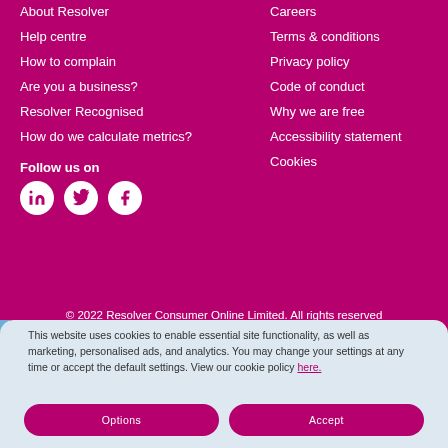About Resolver
Help centre
How to complain
Are you a business?
Resolver Recognised
How do we calculate metrics?
Careers
Terms & conditions
Privacy policy
Code of conduct
Why we are free
Accessibility statement
Cookies
Follow us on
[Figure (illustration): Social media icons: LinkedIn, Twitter, Facebook in white circles on magenta background]
© 2022 Resolver Consumer Online Limited. All rights reserved
This website uses cookies to enable essential site functionality, as well as marketing, personalised ads, and analytics. You may change your settings at any time or accept the default settings. View our cookie policy here.
Options
Accept